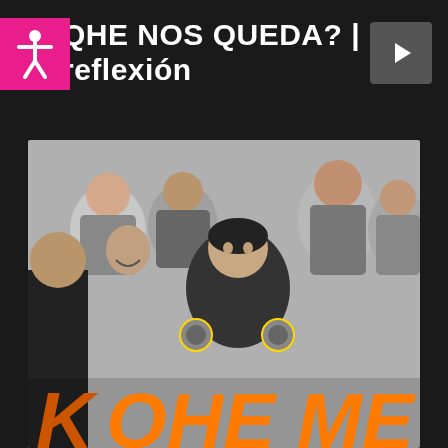[Figure (screenshot): Accessibility icon (white person figure on pink/magenta background)]
QHE NOS QUEDA? | reflexión
[Figure (photo): Photo of a woman in a black police/official uniform with badge, surrounded by other people, with orange large text overlay at bottom reading 'K QHE ME']